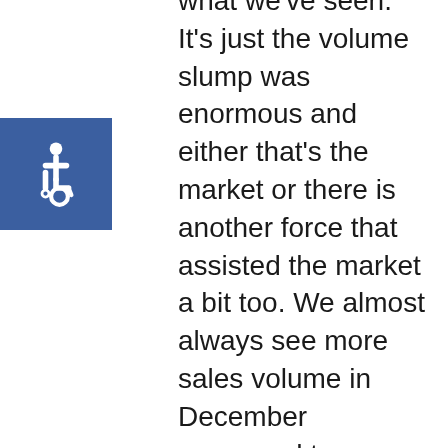[Figure (illustration): Accessibility icon: white wheelchair symbol on blue square background]
what we've seen. It's just the volume slump was enormous and either that's the market or there is another force that assisted the market a bit too. We almost always see more sales volume in December compared to November. It's a market rhythm. This Nov & Dec were incredibly far off though, which is an interesting phenomenon to watch. Even in 2005 when the market was tanking sales volume was very close in Nov & Dec (and even slightly higher in Sac County). This is what is interesting from a stats perspective.